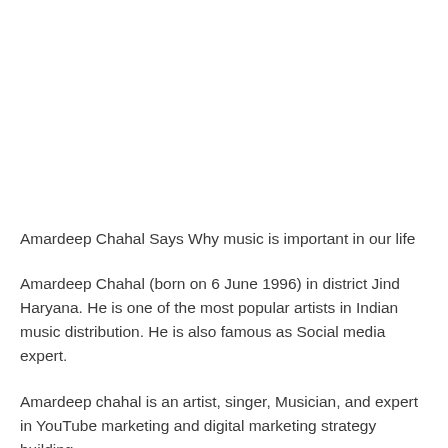Amardeep Chahal Says Why music is important in our life
Amardeep Chahal (born on 6 June 1996) in district Jind Haryana. He is one of the most popular artists in Indian music distribution. He is also famous as Social media expert.
Amardeep chahal is an artist, singer, Musician, and expert in YouTube marketing and digital marketing strategy building